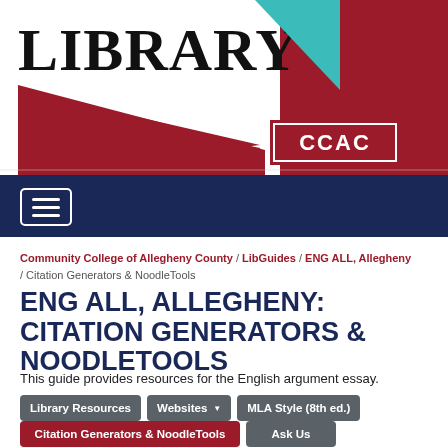[Figure (logo): CCAC Library logo with 'LIBRARY' text in large bold black font, teal triangle, dark red/maroon triangle, and CCAC text in a red rectangle. Right side has solid red background.]
[Figure (screenshot): Dark navy blue navigation bar with hamburger menu icon (three horizontal lines in a white rounded rectangle border)]
Community College of Allegheny County / LibGuides / ENG ALL, Allegheny / Citation Generators & NoodleTools
ENG ALL, ALLEGHENY: CITATION GENERATORS & NOODLETOOLS
This guide provides resources for the English argument essay.
Library Resources
Websites
MLA Style (8th ed.)
Citation Generators & NoodleTools
Ask Us
Pre-Quiz
Post-Quiz